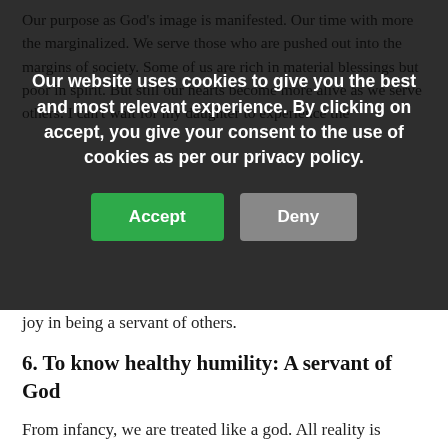[Figure (screenshot): Cookie consent overlay with dark semi-transparent background showing message: 'Our website uses cookies to give you the best and most relevant experience. By clicking on accept, you give your consent to the use of cookies as per our privacy policy.' with Accept (green) and Deny (grey) buttons.]
joy in being a servant of others.
6. To know healthy humility: A servant of God
From infancy, we are treated like a god. All reality is centered on us. The idea that we are not God and that we are meant to serve God must take shape at some point. Making my daughter’s life all about her would destroy her. Those with a sense of healthy humility don’t think of themselves as a god. Instead, they think of themselves as servants of God. “As for me and my household, we will serve the Lord.”
7. To know life’s purpose: A passion for success
Success is defined in many ways. The tragedy of so many is not that they are successful, but they are